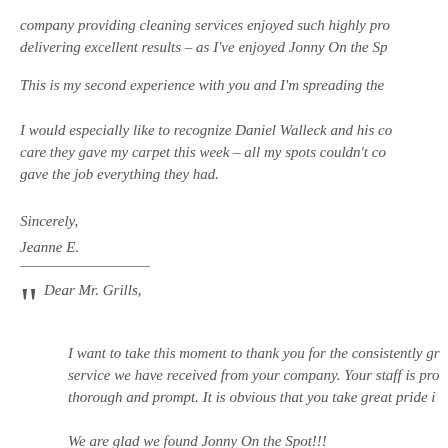company providing cleaning services enjoyed such highly pro delivering excellent results – as I've enjoyed Jonny On the Sp
This is my second experience with you and I'm spreading the
I would especially like to recognize Daniel Walleck and his co care they gave my carpet this week – all my spots couldn't co gave the job everything they had.
Sincerely,
Jeanne E.
Dear Mr. Grills,
I want to take this moment to thank you for the consistently gr service we have received from your company. Your staff is pro thorough and prompt. It is obvious that you take great pride i
We are glad we found Jonny On the Spot!!!